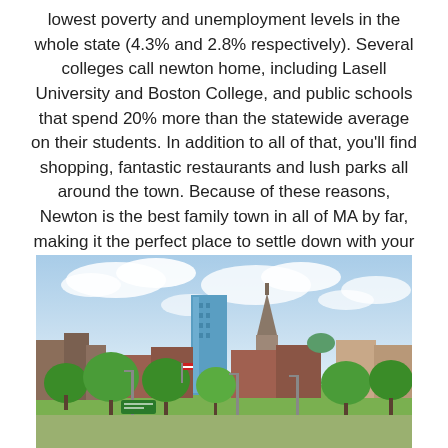lowest poverty and unemployment levels in the whole state (4.3% and 2.8% respectively). Several colleges call newton home, including Lasell University and Boston College, and public schools that spend 20% more than the statewide average on their students. In addition to all of that, you'll find shopping, fantastic restaurants and lush parks all around the town. Because of these reasons, Newton is the best family town in all of MA by far, making it the perfect place to settle down with your own.
[Figure (photo): Cityscape photo showing a New England city skyline with brick buildings, a church steeple, a modern glass tower, green trees, street lights, and a partly cloudy blue sky.]